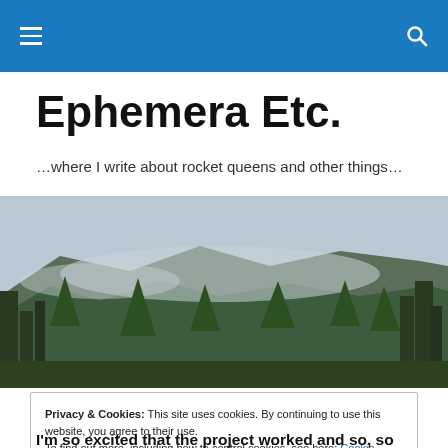Ephemera Etc. — site navigation header with hamburger menu and search icon
Ephemera Etc.
…where I write about rocket queens and other things…
[Figure (photo): Panoramic photo of a forested mountain landscape with evergreen trees and misty/cloudy peaks in the background]
Privacy & Cookies: This site uses cookies. By continuing to use this website, you agree to their use.
To find out more, including how to control cookies, see here: Cookie Policy
Close and accept
I'm so excited that the project worked and so, so thankful